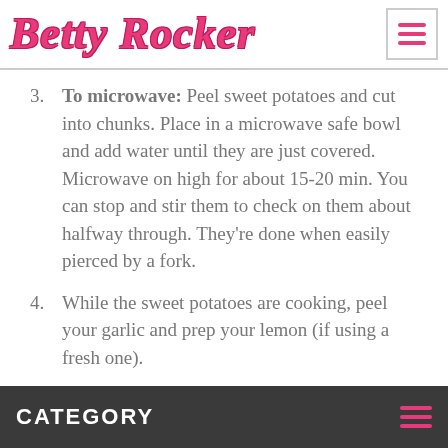Betty Rocker
3. To microwave: Peel sweet potatoes and cut into chunks. Place in a microwave safe bowl and add water until they are just covered. Microwave on high for about 15-20 min. You can stop and stir them to check on them about halfway through. They're done when easily pierced by a fork.
4. While the sweet potatoes are cooking, peel your garlic and prep your lemon (if using a fresh one).
5. In a food processor, combine almonds, garlic, smoked paprika and cumin and blend until smooth.
6. Add the sweet potatoes to the mixture and blend.
CATEGORY